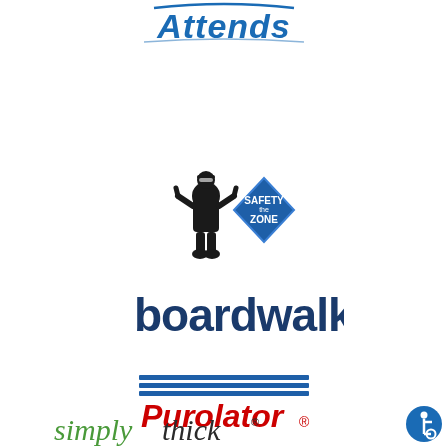[Figure (logo): Attends brand logo in blue with stylized script lettering and decorative swoosh]
[Figure (logo): The Safety Zone logo featuring a worker mascot figure in black holding thumbs up next to a blue diamond shape with 'SAFETY ZONE' text in white]
[Figure (logo): Boardwalk brand logo in dark blue bold lowercase sans-serif text]
[Figure (logo): Purolator logo with blue horizontal stripes above bold red italic 'Purolator' text with trademark symbol]
[Figure (logo): SimplyThick brand logo in green italic 'simply' and dark gray 'thick' with trademark symbol]
[Figure (logo): Blue circular accessibility wheelchair icon in bottom right corner]